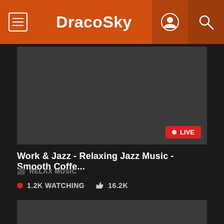DracoSky
[Figure (screenshot): Dark video player thumbnail area with LIVE badge in bottom right corner]
Work & Jazz - Relaxing Jazz Music - Smooth Coffe...
RELAX MUSIC
1.2K WATCHING   16.2K
[Figure (screenshot): Second dark video thumbnail area, partially visible at bottom]